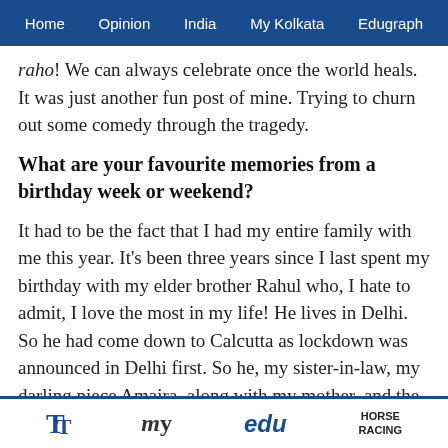Home  Opinion  India  My Kolkata  Edugraph
raho! We can always celebrate once the world heals. It was just another fun post of mine. Trying to churn out some comedy through the tragedy.
What are your favourite memories from a birthday week or weekend?
It had to be the fact that I had my entire family with me this year. It's been three years since I last spent my birthday with my elder brother Rahul who, I hate to admit, I love the most in my life! He lives in Delhi. So he had come down to Calcutta as lockdown was announced in Delhi first. So he, my sister-in-law, my darling niece Amaira, along with my mother, and the blessings of my father from above, this birthday of mine, and I, felt complete.
TT  my  edu  HORSE RACING